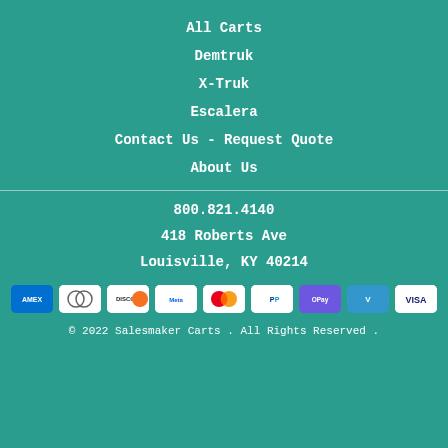All Carts
Demtruk
X-Truk
Escalera
Contact Us - Request Quote
About Us
800.821.4140
418 Roberts Ave
Louisville, KY 40214
[Figure (infographic): Payment method icons: American Express, Diners Club, Discover, Meta Pay, Mastercard, PayPal, Apple Pay, Venmo, Visa]
© 2022 Salesmaker Carts . All Rights Reserved .